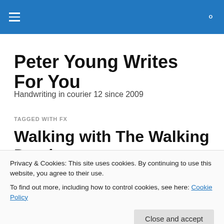Peter Young Writes For You — navigation bar with hamburger menu and search icon
Peter Young Writes For You
Handwriting in courier 12 since 2009
TAGGED WITH FX
Walking with The Walking Dead
Privacy & Cookies: This site uses cookies. By continuing to use this website, you agree to their use.
To find out more, including how to control cookies, see here: Cookie Policy
Close and accept
[Figure (photo): Partial view of a photo at the bottom of the page showing people, partially obscured by the cookie notice]